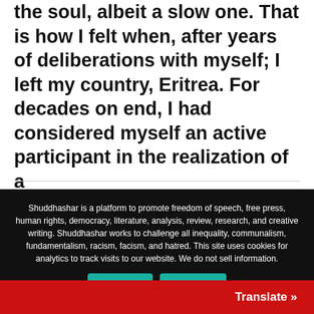the soul, albeit a slow one. That is how I felt when, after years of deliberations with myself; I left my country, Eritrea. For decades on end, I had considered myself an active participant in the realization of a ...
Read More »
Shuddhashar is a platform to promote freedom of speech, free press, human rights, democracy, literature, analysis, review, research, and creative writing. Shuddhashar works to challenge all inequality, communalism, fundamentalism, racism, facism, and hatred. This site uses cookies for analytics to track visits to our website. We do not sell information.
I Agree
Decline
Translate »